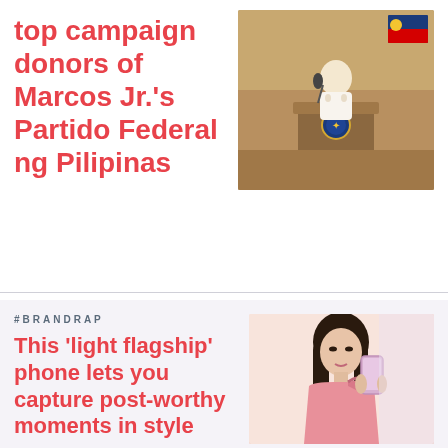top campaign donors of Marcos Jr.'s Partido Federal ng Pilipinas
[Figure (photo): Photo of a person in white formal wear at a podium with a Philippine government seal/emblem visible in the background]
#BRANDRAP
This ‘light flagship’ phone lets you capture post-worthy moments in style
[Figure (photo): Photo of a young woman in a pink one-shoulder dress holding a smartphone against a light pink/lavender background]